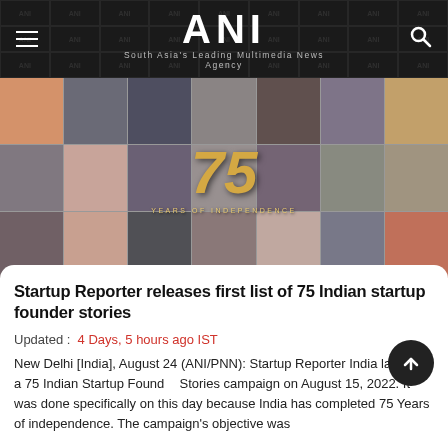ANI — South Asia's Leading Multimedia News Agency
[Figure (photo): Collage of 75 Indian startup founders with '75 YEARS OF INDEPENDENCE' text overlay in gold]
Startup Reporter releases first list of 75 Indian startup founder stories
Updated :  4 Days, 5 hours ago IST
New Delhi [India], August 24 (ANI/PNN): Startup Reporter India launched a 75 Indian Startup Founder Stories campaign on August 15, 2022. It was done specifically on this day because India has completed 75 Years of independence. The campaign's objective was